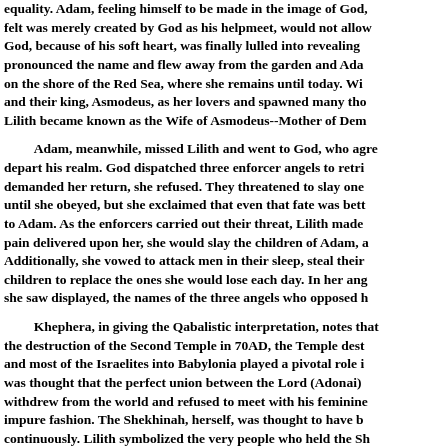equality. Adam, feeling himself to be made in the image of God, felt was merely created by God as his helpmeet, would not allow God, because of his soft heart, was finally lulled into revealing pronounced the name and flew away from the garden and Ada on the shore of the Red Sea, where she remains until today. Wi and their king, Asmodeus, as her lovers and spawned many tho Lilith became known as the Wife of Asmodeus--Mother of Dem
Adam, meanwhile, missed Lilith and went to God, who agre depart his realm. God dispatched three enforcer angels to retri demanded her return, she refused. They threatened to slay one until she obeyed, but she exclaimed that even that fate was bett to Adam. As the enforcers carried out their threat, Lilith made pain delivered upon her, she would slay the children of Adam, a Additionally, she vowed to attack men in their sleep, steal their children to replace the ones she would lose each day. In her ang she saw displayed, the names of the three angels who opposed h
Khephera, in giving the Qabalistic interpretation, notes that the destruction of the Second Temple in 70AD, the Temple dest and most of the Israelites into Babylonia played a pivotal role i was thought that the perfect union between the Lord (Adonai) withdrew from the world and refused to meet with his feminine impure fashion. The Shekhinah, herself, was thought to have b continuously. Lilith symbolized the very people who held the Sh Wives of Babylon, but the narrative thread that God could li